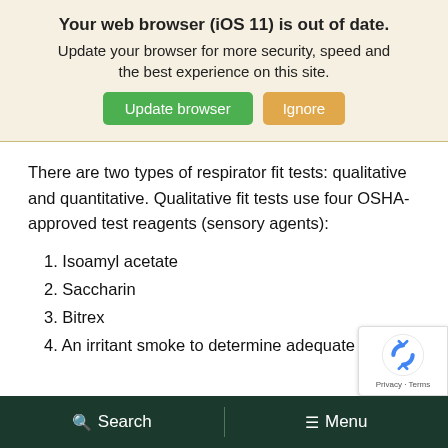[Figure (screenshot): Browser update notification banner with 'Your web browser (iOS 11) is out of date.' message, 'Update browser' green button and 'Ignore' tan button]
There are two types of respirator fit tests: qualitative and quantitative. Qualitative fit tests use four OSHA-approved test reagents (sensory agents):
1. Isoamyl acetate
2. Saccharin
3. Bitrex
4. An irritant smoke to determine adequate
Search   Menu